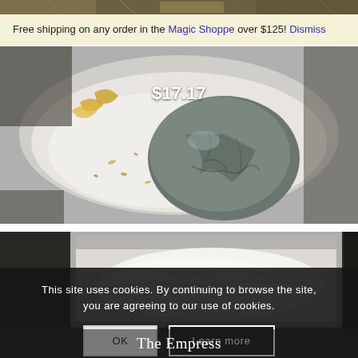[Figure (photo): Top partial strip of a decorative stones/crystals image]
Free shipping on any order in the Magic Shoppe over $125! Dismiss
[Figure (photo): A grey-green polished stone in a white bowl with seeds and dried petals, price label $17.17]
$17.17
[Figure (photo): A jar with white substance, partially obscured by cookie consent overlay]
This site uses cookies. By continuing to browse the site, you are agreeing to our use of cookies.
OK
Learn more
The Empress